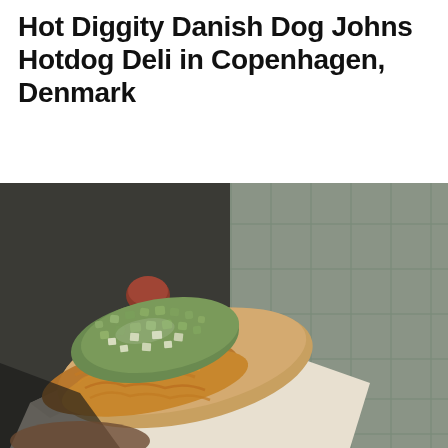Hot Diggity Danish Dog Johns Hotdog Deli in Copenhagen, Denmark
[Figure (photo): Close-up photograph of a Danish hot dog held in hand, topped with crispy fried onions and chopped green relish and raw onions, served in a paper tray, with cobblestone street visible in background]